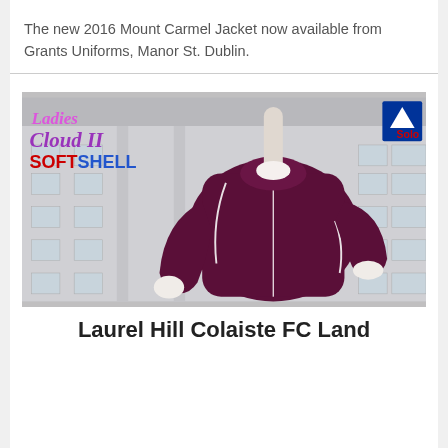The new 2016 Mount Carmel Jacket now available from Grants Uniforms, Manor St. Dublin.
[Figure (photo): Product photo of a Ladies Cloud II Softshell jacket in dark purple/maroon color, displayed on a headless mannequin against a grey stone building background. Solo brand logo visible in top right corner. Text overlays read 'Ladies Cloud II' in purple italic font and 'SOFTSHELL' in red and blue bold text.]
Laurel Hill Colaiste FC Land